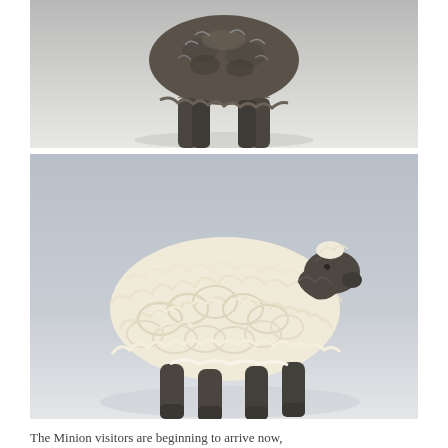[Figure (photo): Close-up photo from behind of a needle-felted sheep figure with dark grey/brown woolly legs and body, viewed from the rear, against a light grey-white background.]
[Figure (photo): Side-view photo of a needle-felted sheep figure with dark grey-brown legs and head, fluffy curly cream/off-white wool body, standing on a light grey-blue gradient background.]
The Minion visitors are beginning to arrive now,